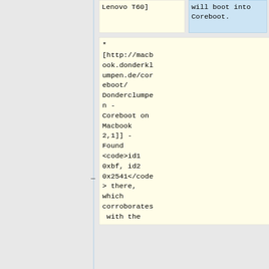Lenovo T60]
will boot into Coreboot.
* [http://macbook.donderklumpen.de/coreboot/Donderclumpen - Coreboot on Macbook 2,1]] - Found <code>id1 0xbf, id2 0x2541</code> there, which corroborates with the